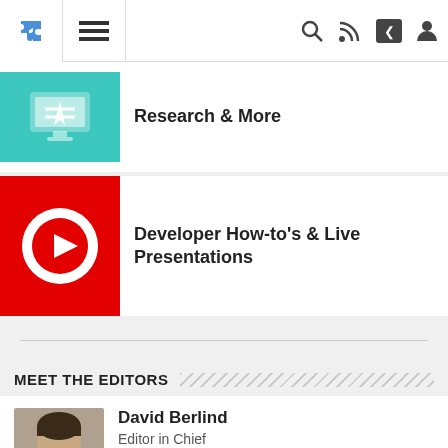Navigation bar with puzzle icon, hamburger menu, search, RSS, share, and profile icons
Research & More
Developer How-to's & Live Presentations
MEET THE EDITORS
David Berlind
Editor in Chief
@dberlind
Articles
Wendell Santos
Editor